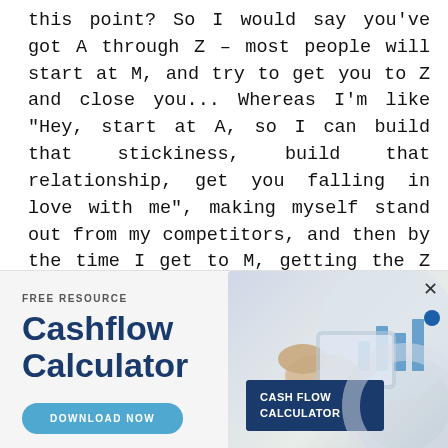this point? So I would say you've got A through Z – most people will start at M, and try to get you to Z and close you... Whereas I'm like "Hey, start at A, so I can build that stickiness, build that relationship, get you falling in love with me", making myself stand out from my competitors, and then by the time I get to M, getting the Z is easy. Does that make sense?
[Figure (infographic): Advertisement banner for a free resource: Cashflow Calculator. Left side shows 'FREE RESOURCE' label, 'Cashflow Calculator' title in dark blue bold text, and a 'DOWNLOAD NOW' teal button. Right side shows an illustration of hands using a tablet with charts, and a dark blue card labeled 'CASH FLOW CALCULATOR'. An X close button and blue dot appear at top right.]